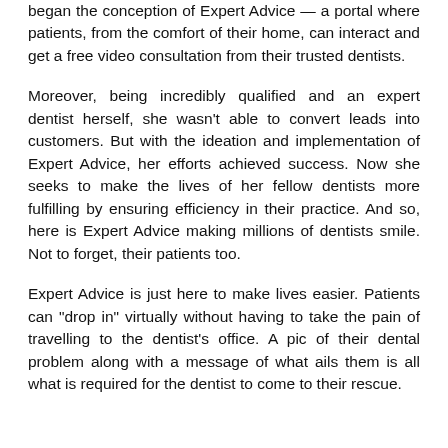began the conception of Expert Advice — a portal where patients, from the comfort of their home, can interact and get a free video consultation from their trusted dentists.
Moreover, being incredibly qualified and an expert dentist herself, she wasn't able to convert leads into customers. But with the ideation and implementation of Expert Advice, her efforts achieved success. Now she seeks to make the lives of her fellow dentists more fulfilling by ensuring efficiency in their practice. And so, here is Expert Advice making millions of dentists smile. Not to forget, their patients too.
Expert Advice is just here to make lives easier. Patients can "drop in" virtually without having to take the pain of travelling to the dentist's office. A pic of their dental problem along with a message of what ails them is all what is required for the dentist to come to their rescue.